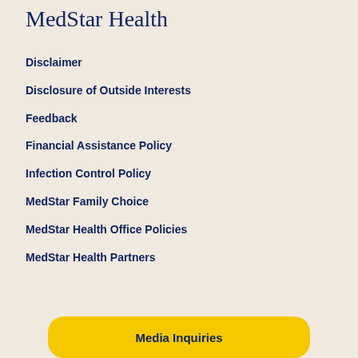MedStar Health
Disclaimer
Disclosure of Outside Interests
Feedback
Financial Assistance Policy
Infection Control Policy
MedStar Family Choice
MedStar Health Office Policies
MedStar Health Partners
Media Inquiries